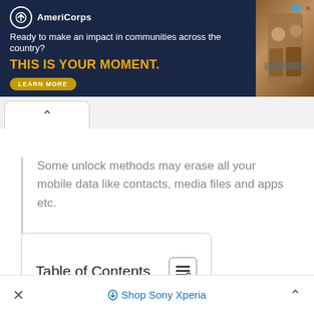[Figure (screenshot): AmeriCorps advertisement banner with dark navy background. Logo with circle icon and 'AmeriCorps' text. Tagline: 'Ready to make an impact in communities across the country?' Headline in gold/yellow: 'THIS IS YOUR MOMENT.' with a 'LEARN MORE' button. Photo of students on the right side.]
Some unlock methods may erase all your mobile data like contacts, media files and apps etc.
Table of Contents
× ◇ Shop Sony Xperia ^